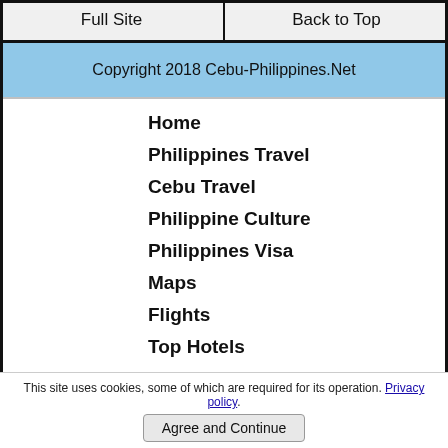Full Site | Back to Top
Copyright 2018 Cebu-Philippines.Net
Home
Philippines Travel
Cebu Travel
Philippine Culture
Philippines Visa
Maps
Flights
Top Hotels
Beach Resorts
Scuba Diving
Personals
This site uses cookies, some of which are required for its operation. Privacy policy.
Agree and Continue